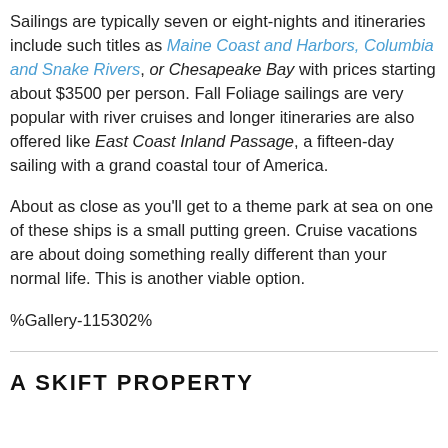Sailings are typically seven or eight-nights and itineraries include such titles as Maine Coast and Harbors, Columbia and Snake Rivers, or Chesapeake Bay with prices starting about $3500 per person. Fall Foliage sailings are very popular with river cruises and longer itineraries are also offered like East Coast Inland Passage, a fifteen-day sailing with a grand coastal tour of America.
About as close as you'll get to a theme park at sea on one of these ships is a small putting green. Cruise vacations are about doing something really different than your normal life. This is another viable option.
%Gallery-115302%
A SKIFT PROPERTY